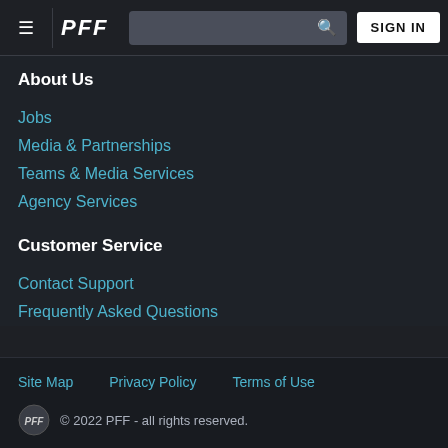PFF - SIGN IN
About Us
Jobs
Media & Partnerships
Teams & Media Services
Agency Services
Customer Service
Contact Support
Frequently Asked Questions
Site Map   Privacy Policy   Terms of Use
© 2022 PFF - all rights reserved.